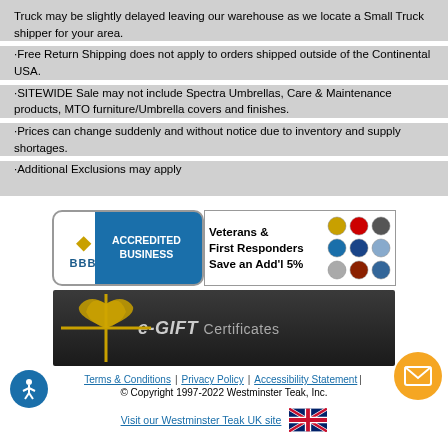Truck may be slightly delayed leaving our warehouse as we locate a Small Truck shipper for your area.
·Free Return Shipping does not apply to orders shipped outside of the Continental USA.
·SITEWIDE Sale may not include Spectra Umbrellas, Care & Maintenance products, MTO furniture/Umbrella covers and finishes.
·Prices can change suddenly and without notice due to inventory and supply shortages.
·Additional Exclusions may apply
[Figure (logo): BBB Accredited Business badge]
[Figure (infographic): Veterans & First Responders Save an Add'l 5% badge with military/service branch icons]
[Figure (illustration): e-GIFT Certificates banner with gold bow ribbon on dark background]
Terms & Conditions | Privacy Policy | Accessibility Statement | © Copyright 1997-2022 Westminster Teak, Inc.
Visit our Westminster Teak UK site